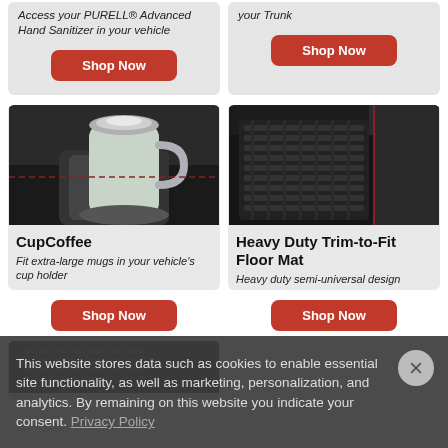Access your PURELL® Advanced Hand Sanitizer in your vehicle
your Trunk
[Figure (illustration): Shop Now button (red, rounded) for top-left product card]
[Figure (illustration): Shop Now button (red, rounded) for top-right product card]
[Figure (photo): Photo of a travel cup/mug in a car cup holder]
CupCoffee
Fit extra-large mugs in your vehicle's cup holder
[Figure (photo): Photo of heavy duty black car floor mat]
Heavy Duty Trim-to-Fit Floor Mat
Heavy duty semi-universal design
Shop Now
Shop Now
This website stores data such as cookies to enable essential site functionality, as well as marketing, personalization, and analytics. By remaining on this website you indicate your consent. Privacy Policy